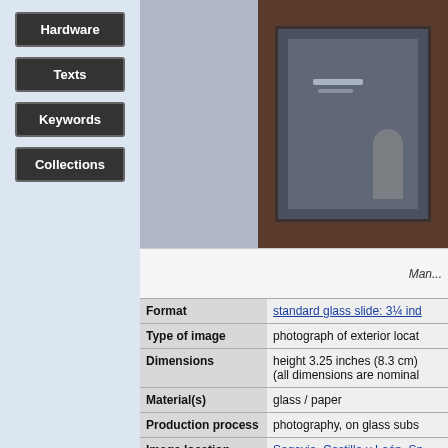Hardware
Texts
Keywords
Collections
[Figure (photo): Photograph of a framed glass slide showing an exterior location, displayed in a dark brown/wooden frame. The image inside appears to show a figure or statue in a dark, muted scene.]
Man... (truncated)
| Field | Value |
| --- | --- |
| Format | standard glass slide: 3¼ inc... |
| Type of image | photograph of exterior locat... |
| Dimensions | height 3.25 inches (8.3 cm)
(all dimensions are nominal... |
| Material(s) | glass / paper |
| Production process | photography, on glass subs... |
| Image location | Segovia, Castilla y León, Sp... |
| Collections | Example in Manchester Mu... |